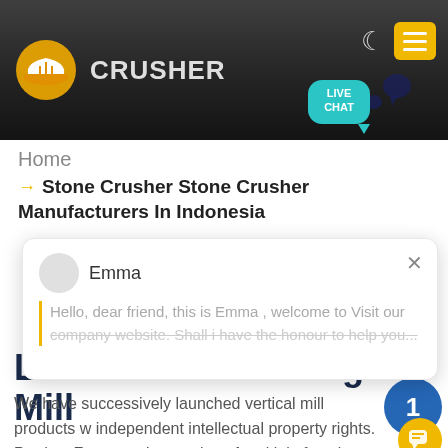[Figure (screenshot): Website header banner with dark background showing mining/crusher machinery imagery, company logo (hard-hat style icon in yellow/orange), CRUSHER text, moon icon, and yellow hamburger menu button on the right]
[Figure (other): Live chat bubble in teal color with speech bubble icon reading LIVE CHAT]
Home
→ Stone Crusher Stone Crusher Manufacturers In Indonesia
[Figure (other): Chat popup modal with avatar circle for Emma, close X button, and message: Hello, dear friend, this is Emma , welcome to Visit our company website. Shall i have the honour to help you...]
LM Vertical Grinding Mill
We have successively launched vertical mill products w independent intellectual property rights. Product Features: Integration of multiple functions, more stable and reliable production and more excellent capacity